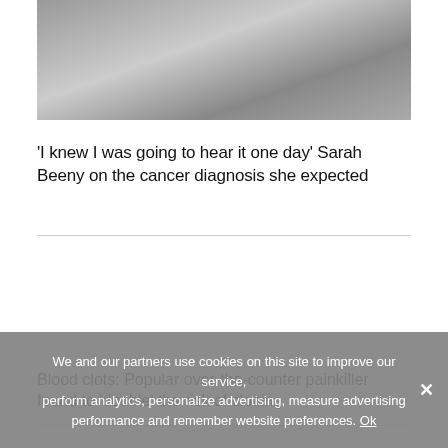[Figure (photo): Photo of two people, partially visible, appears to be a news article image]
'I knew I was going to hear it one day' Sarah Beeny on the cancer diagnosis she expected
Blood clots: Popular over-the-counter painkiller found to 'double' the risk of clotting
We and our partners use cookies on this site to improve our service, perform analytics, personalize advertising, measure advertising performance and remember website preferences. Ok